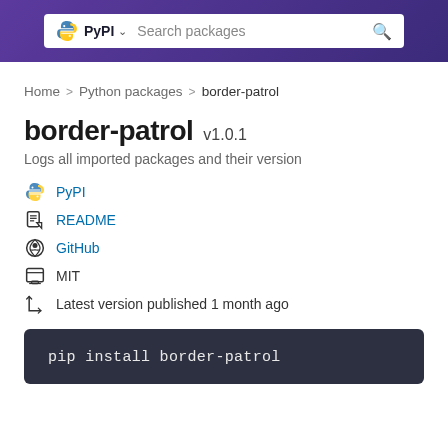[Figure (screenshot): PyPI header bar with search box showing PyPI logo, 'PyPI' label with dropdown chevron, 'Search packages' placeholder text, and a search icon]
Home > Python packages > border-patrol
border-patrol v1.0.1
Logs all imported packages and their version
PyPI
README
GitHub
MIT
Latest version published 1 month ago
pip install border-patrol